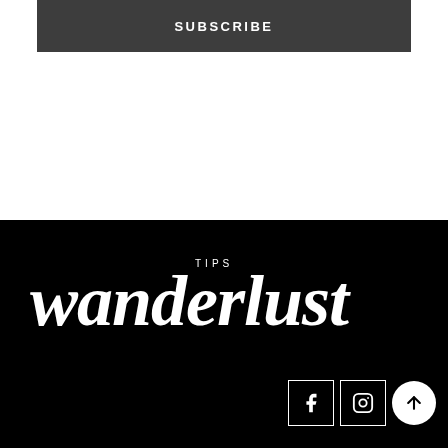SUBSCRIBE
[Figure (logo): Wanderlust TIPS logo in white on black background, large serif italic font with 'TIPS' in small caps above]
[Figure (infographic): Social media icons: Facebook and Instagram in square outlines, plus a circular scroll-to-top arrow button]